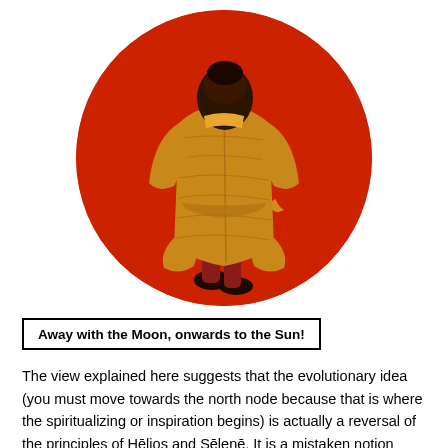[Figure (illustration): A circular illustration with a red/orange background showing a figure in a yellow/gold coat viewed from behind, with a crescent moon shape to the right side of the figure.]
Away with the Moon, onwards to the Sun!
The view explained here suggests that the evolutionary idea (you must move towards the north node because that is where the spiritualizing or inspiration begins) is actually a reversal of the principles of Hēlios and Sēlenē. It is a mistaken notion because it reverses the meaning of what